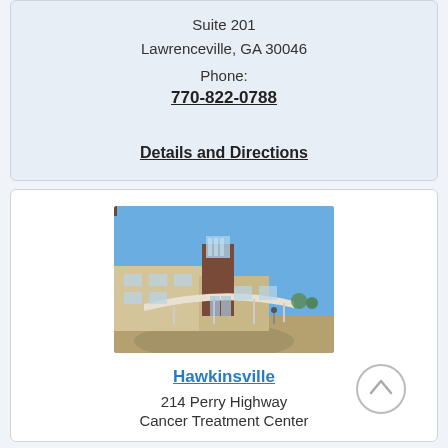Suite 201
Lawrenceville, GA 30046
Phone:
770-822-0788
Details and Directions
[Figure (photo): Exterior photo of a medical building / cancer treatment center with a curved canopy entrance, modern architecture, blue sky background.]
Hawkinsville
214 Perry Highway
Cancer Treatment Center